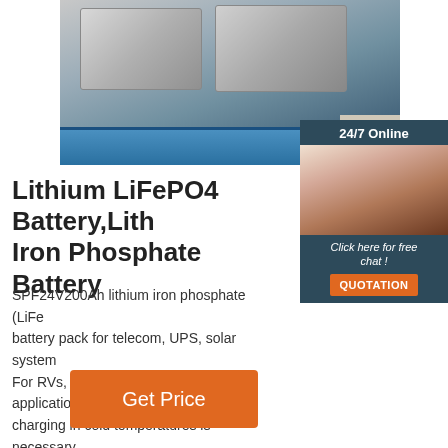[Figure (photo): Photo of two large gray LiFePO4 battery boxes wrapped in plastic, sitting on a blue pallet on a tile floor]
[Figure (photo): 24/7 Online chat widget with a female agent wearing a headset, dark blue background, with 'Click here for free chat!' text and an orange QUOTATION button]
Lithium LiFePO4 Battery,Lithium Iron Phosphate Battery
SPF24V200Ah lithium iron phosphate (LiFePO4) battery pack for telecom, UPS, solar system. For RVs, off-grid solar, and in any application charging in cold temperatures is necessary. aviation, military communication products, it can provide communication support in …
Get Price